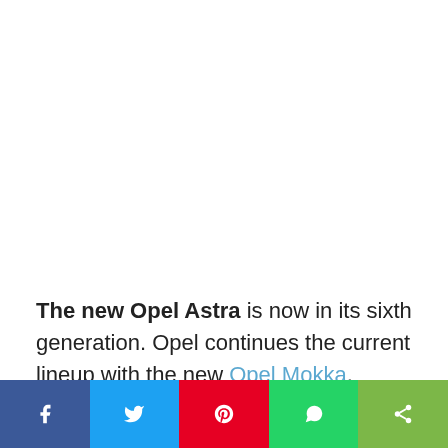The new Opel Astra is now in its sixth generation. Opel continues the current lineup with the new Opel Mokka, Astra's brother model. An exciting and dynamic design has been combined with cutting-edge technology to create a vehicle that exudes the engineering spirit of Germany.

The Opel Astra is undeniably a timeless vehicle. So Opel